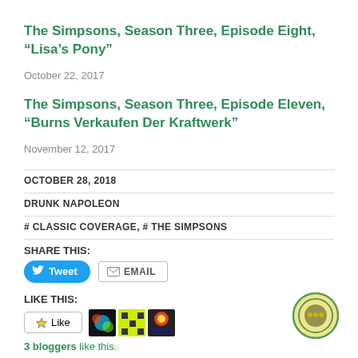The Simpsons, Season Three, Episode Eight, “Lisa’s Pony”
October 22, 2017
The Simpsons, Season Three, Episode Eleven, “Burns Verkaufen Der Kraftwerk”
November 12, 2017
OCTOBER 28, 2018
DRUNK NAPOLEON
# CLASSIC COVERAGE, # THE SIMPSONS
SHARE THIS:
LIKE THIS:
3 bloggers like this.